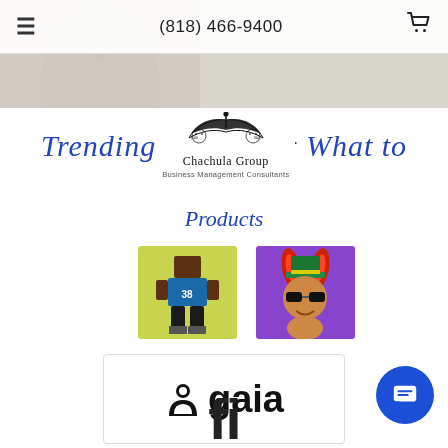≡  (818) 466-9400  🛒
[Figure (photo): Faded background hero image strip at top of page]
[Figure (logo): Chachula Group Business Management Consultants logo with decorative emblem, flanked by italic blue text 'Trending' on left and 'What to' on right]
Products
[Figure (photo): Pixel art NFT of a basketball player wearing jersey number 38 on yellow background]
[Figure (photo): Colorful NFT of a rabbit-like creature with red ears and green hat on purple background]
[Figure (logo): Gaia logo: circular person icon followed by the word 'gaia' in bold black text, on white background with border]
[Figure (other): Partial Fiverr logo text visible at bottom of page, cut off]
[Figure (other): Blue circular chat button with speech bubble icon in bottom right corner]